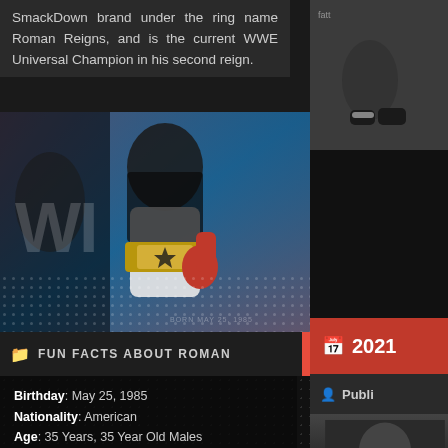SmackDown brand under the ring name Roman Reigns, and is the current WWE Universal Champion in his second reign.
[Figure (photo): WWE promotional artwork of Roman Reigns holding championship belt, colorful blue and red graphic style]
FUN FACTS ABOUT ROMAN
Birthday: May 25, 1985
Nationality: American
Age: 35 Years, 35 Year Old Males
Sun Sign: Gemini
Also Known As: Leati Joseph Anoa'i, Joe Anoa'i
Born Country: United States
Born In: Pensacola, Florida, United States
[Figure (photo): Sidebar photo of person in sports attire]
2021
Publi
Tonight Michael